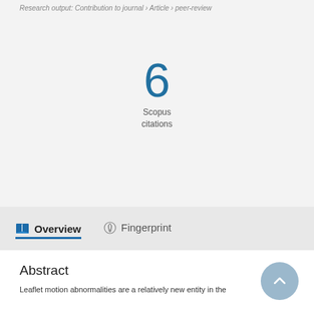Research output: Contribution to journal › Article › peer-review
6
Scopus
citations
Overview   Fingerprint
Abstract
Leaflet motion abnormalities are a relatively new entity in the